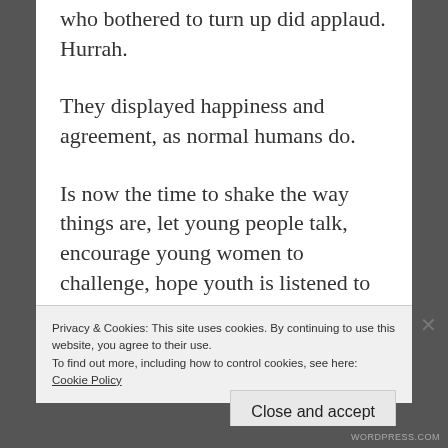who bothered to turn up did applaud. Hurrah.
They displayed happiness and agreement, as normal humans do.
Is now the time to shake the way things are, let young people talk, encourage young women to challenge, hope youth is listened to more?
Privacy & Cookies: This site uses cookies. By continuing to use this website, you agree to their use.
To find out more, including how to control cookies, see here: Cookie Policy
Close and accept